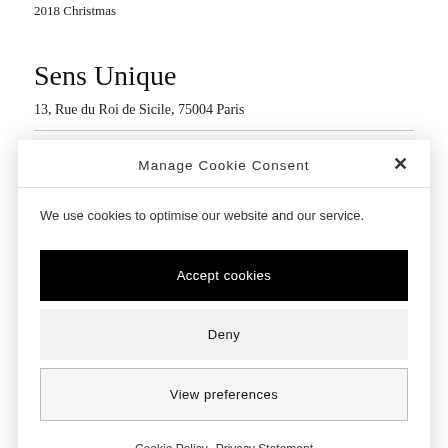2018 Christmas
Sens Unique
13, Rue du Roi de Sicile, 75004 Paris
Manage Cookie Consent
We use cookies to optimise our website and our service.
Accept cookies
Deny
View preferences
Cookie Policy   Privacy Statement